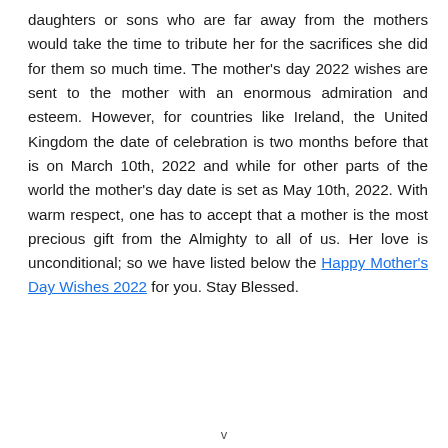daughters or sons who are far away from the mothers would take the time to tribute her for the sacrifices she did for them so much time. The mother's day 2022 wishes are sent to the mother with an enormous admiration and esteem. However, for countries like Ireland, the United Kingdom the date of celebration is two months before that is on March 10th, 2022 and while for other parts of the world the mother's day date is set as May 10th, 2022. With warm respect, one has to accept that a mother is the most precious gift from the Almighty to all of us. Her love is unconditional; so we have listed below the Happy Mother's Day Wishes 2022 for you. Stay Blessed.
v